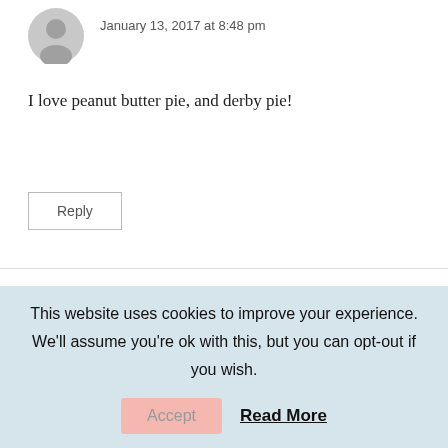January 13, 2017 at 8:48 pm
I love peanut butter pie, and derby pie!
Reply
Ruth says: January 13, 2017 at 12:25 am
Wow! These pie recipes look great! Can't wait to try them...
This website uses cookies to improve your experience. We'll assume you're ok with this, but you can opt-out if you wish.
Accept  Read More